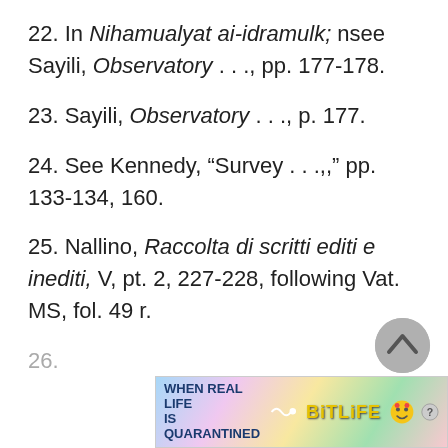22. In Nihamualyat ai-idramulk; nsee Sayili, Observatory . . ., pp. 177-178.
23. Sayili, Observatory . . ., p. 177.
24. See Kennedy, “Survey . . .,,” pp. 133-134, 160.
25. Nallino, Raccolta di scritti editi e inediti, V, pt. 2, 227-228, following Vat. MS, fol. 49 r.
26.
[Figure (screenshot): Advertisement banner for BitLife game at bottom of page, with rainbow gradient background, text WHEN REAL LIFE IS QUARANTINED and BitLife logo with emoji characters]